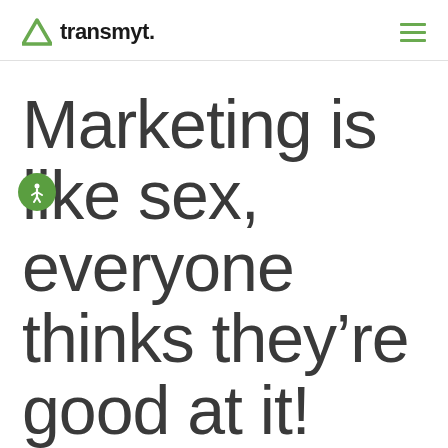transmyt.
Marketing is like sex, everyone thinks they're good at it!
[Figure (logo): Transmyt logo with green triangle icon and bold text 'transmyt.' with a period]